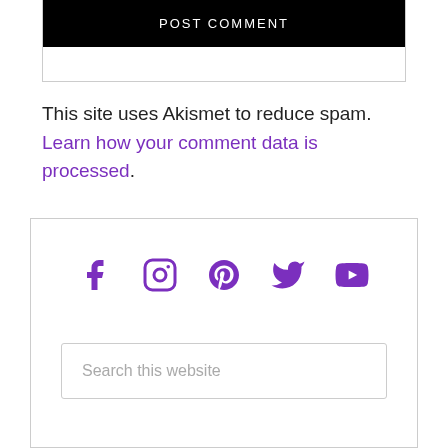[Figure (screenshot): POST COMMENT black button inside a bordered box]
This site uses Akismet to reduce spam. Learn how your comment data is processed.
[Figure (infographic): Social media icons: Facebook, Instagram, Pinterest, Twitter, YouTube in purple]
Search this website